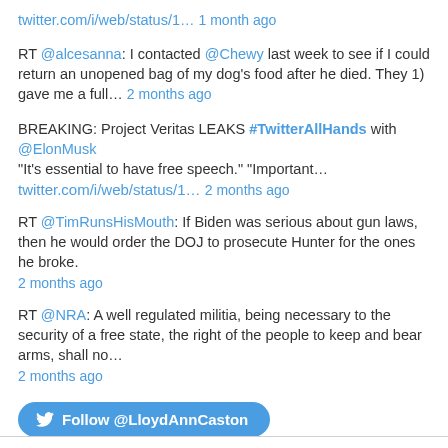twitter.com/i/web/status/1… 1 month ago
RT @alcesanna: I contacted @Chewy last week to see if I could return an unopened bag of my dog's food after he died. They 1) gave me a full… 2 months ago
BREAKING: Project Veritas LEAKS #TwitterAllHands with @ElonMusk "It's essential to have free speech." "Important… twitter.com/i/web/status/1… 2 months ago
RT @TimRunsHisMouth: If Biden was serious about gun laws, then he would order the DOJ to prosecute Hunter for the ones he broke. 2 months ago
RT @NRA: A well regulated militia, being necessary to the security of a free state, the right of the people to keep and bear arms, shall no… 2 months ago
Follow @LloydAnnCaston